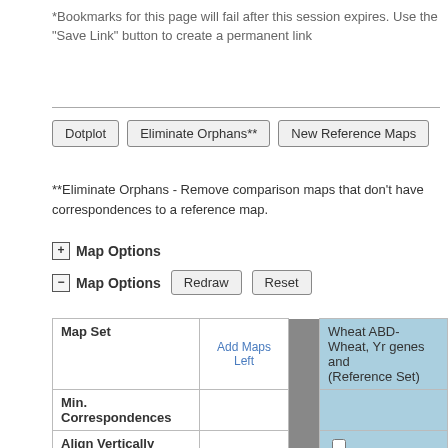*Bookmarks for this page will fail after this session expires. Use the "Save Link" button to create a permanent link
Dotplot | Eliminate Orphans** | New Reference Maps
**Eliminate Orphans - Remove comparison maps that don't have correspondences to a reference map.
+ Map Options
− Map Options  Redraw  Reset
| Map Set | Add Maps Left |  | Wheat ABD-Wheat, Yr genes and (Reference Set) |
| --- | --- | --- | --- |
| Min. Correspondences |  |  |  |
| Align Vertically |  |  | ☐ |
| Stack |  |  |  |
| Maps |  |  | Wheat, Yr genes and QTL 1A |
| Start |  |  | 0 |